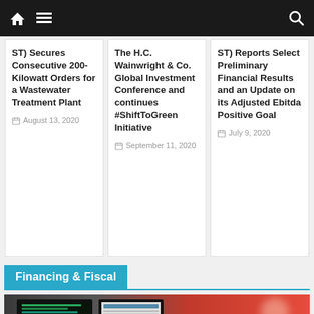Navigation bar with home, menu, and search icons
ST) Secures Consecutive 200-Kilowatt Orders for a Wastewater Treatment Plant
August 13, 2020
The H.C. Wainwright & Co. Global Investment Conference and continues #ShiftToGreen Initiative
September 11, 2020
ST) Reports Select Preliminary Financial Results and an Update on its Adjusted Ebitda Positive Goal
July 9, 2020
Financing & Fiscal
[Figure (photo): Two computer monitors showing code and a spreadsheet/chart on a red/dark background]